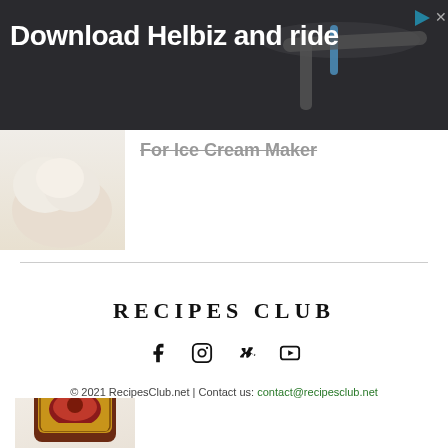[Figure (screenshot): Advertisement banner with dark background and handlebar photo. Text reads 'Download Helbiz and ride' in white bold text.]
[Figure (photo): Partially visible ice cream image with arrow up icon and partially visible title text 'For Ice Cream Maker']
EXCLUSIVE
Better Than Bouillon Chili Base Recipe
[Figure (photo): Jar of Better Than Bouillon Chili Base product]
RECIPES CLUB
© 2021 RecipesClub.net | Contact us: contact@recipesclub.net